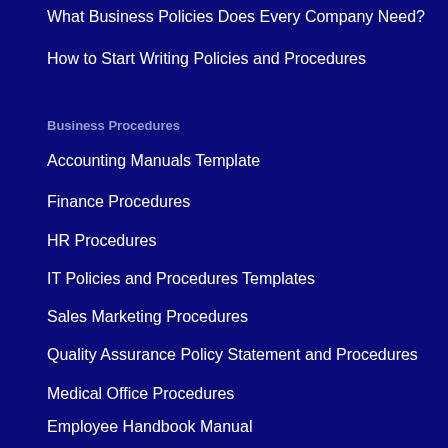What Business Policies Does Every Company Need?
How to Start Writing Policies and Procedures
Business Procedures
Accounting Manuals Template
Finance Procedures
HR Procedures
IT Policies and Procedures Templates
Sales Marketing Procedures
Quality Assurance Policy Statement and Procedures
Medical Office Procedures
Employee Handbook Manual
Aerospace Procedures